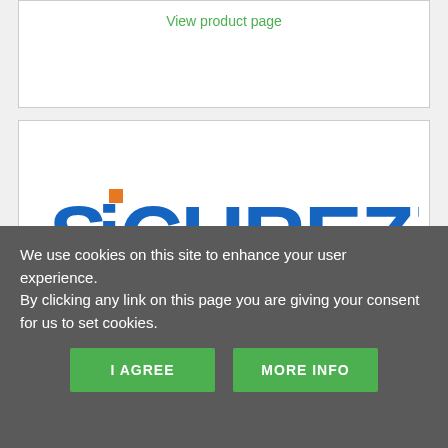View product page
[Figure (logo): SICUREZZA International Security & Fire Exhibition logo with blue text and orange square accent, subtitle: INTERNATIONAL SECURITY & FIRE EXHIBITION, date: 13-15 NOVEMBER 2019]
PRODUCT
We use cookies on this site to enhance your user experience.
By clicking any link on this page you are giving your consent for us to set cookies.
I AGREE
MORE INFO